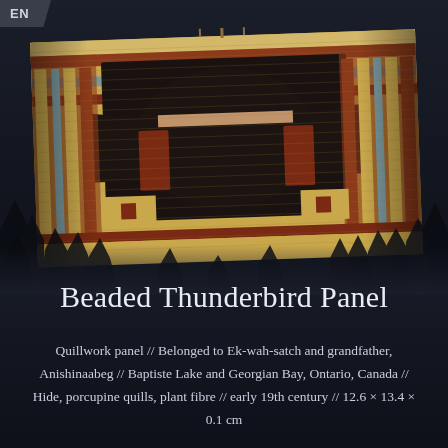[Figure (photo): Close-up photograph of a beaded/quillwork thunderbird panel showing intricate geometric patterns in red-orange, cream/ivory, teal/blue-green, mustard yellow, and black colors arranged in rows of quillwork. The artifact is suspended against a dark background with silhouetted tree branches visible below.]
Beaded Thunderbird Panel
Quillwork panel // Belonged to Ek-wah-satch and grandfather, Anishinaabeg // Baptiste Lake and Georgian Bay, Ontario, Canada // Hide, porcupine quills, plant fibre // early 19th century // 12.6 × 13.4 × 0.1 cm